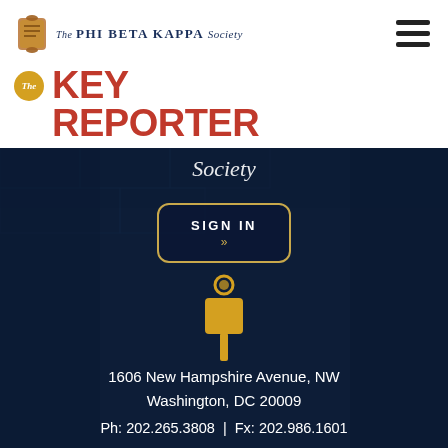[Figure (logo): The Phi Beta Kappa Society logo with scroll icon and organization name]
[Figure (logo): The Key Reporter logo with golden badge and red bold text]
[Figure (screenshot): Dark blue background with stone/brick texture, Society script text, Sign In button with gold border, gold key icon]
1606 New Hampshire Avenue, NW
Washington, DC 20009
Ph: 202.265.3808  |  Fx: 202.986.1601